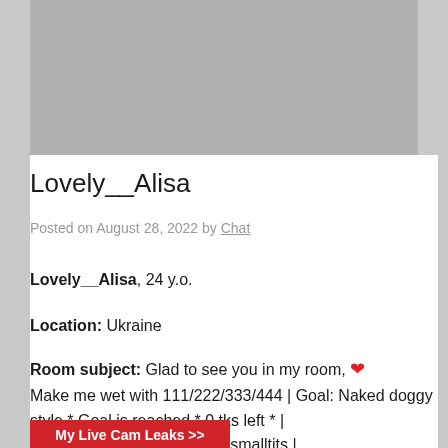[Figure (photo): Gray placeholder image area at top of page]
Lovely__Alisa
Posted on August 28, 2022 by Chat
Lovely__Alisa, 24 y.o.
Location: Ukraine
Room subject: Glad to see you in my room, ❤ Make me wet with 111/222/333/444 | Goal: Naked doggy style * Goal is reached * 0 tks left * | #bigass #pvt #feet #young #smalltits |
My Live Cam Leaks >>